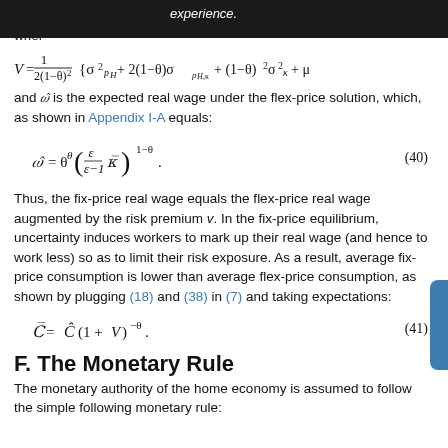experience.
wher
and \hat{\omega} is the expected real wage under the flex-price solution, which, as shown in Appendix I-A equals:
Thus, the fix-price real wage equals the flex-price real wage augmented by the risk premium v. In the fix-price equilibrium, uncertainty induces workers to mark up their real wage (and hence to work less) so as to limit their risk exposure. As a result, average fix-price consumption is lower than average flex-price consumption, as shown by plugging (18) and (38) in (7) and taking expectations:
F. The Monetary Rule
The monetary authority of the home economy is assumed to follow the simple following monetary rule: